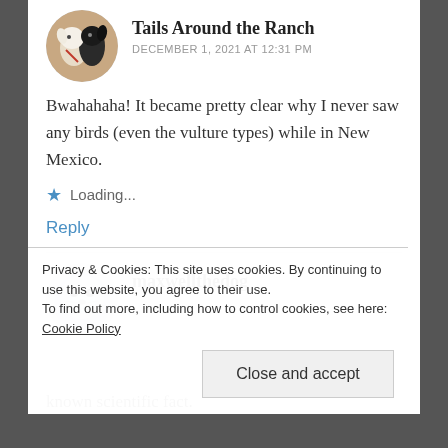Tails Around the Ranch
DECEMBER 1, 2021 AT 12:31 PM
Bwahahaha! It became pretty clear why I never saw any birds (even the vulture types) while in New Mexico.
Loading...
Reply
maxwellthedog
Privacy & Cookies: This site uses cookies. By continuing to use this website, you agree to their use.
To find out more, including how to control cookies, see here: Cookie Policy
Close and accept
known scientific fact.